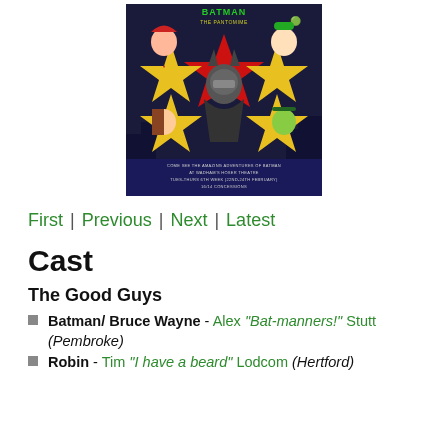[Figure (illustration): Batman The Pantomime cartoon poster showing Batman and villains including The Joker, Poison Ivy, Two-Face, and The Riddler with yellow stars on dark background. Text at bottom: COME SEE THE AMAZING ADVENTURES OF BATMAN AT WADHAM'S HOSER THEATRE TUES-THURS 6TH WEEK (22ND-24TH FEBRUARY) 16/14 CONCESSIONS]
First | Previous | Next | Latest
Cast
The Good Guys
Batman/ Bruce Wayne - Alex "Bat-manners!" Stutt (Pembroke)
Robin - Tim "I have a beard" Lodcom (Hertford)